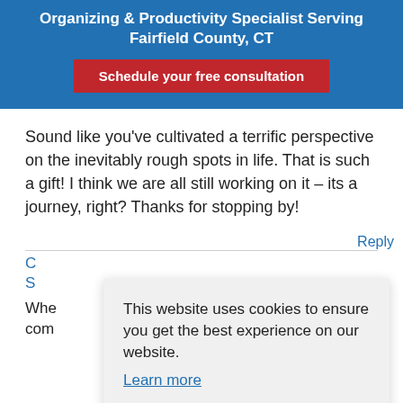Organizing & Productivity Specialist Serving Fairfield County, CT
Schedule your free consultation
Sound like you’ve cultivated a terrific perspective on the inevitably rough spots in life. That is such a gift! I think we are all still working on it – its a journey, right? Thanks for stopping by!
Reply
This website uses cookies to ensure you get the best experience on our website. Learn more
Got it
Whe
com